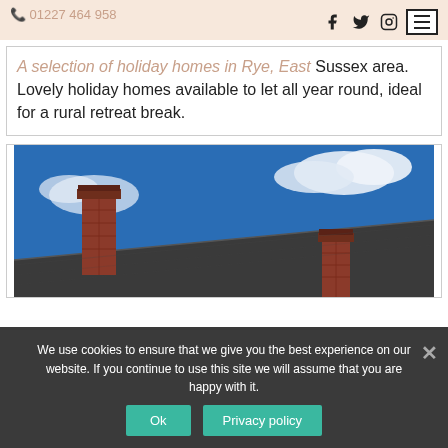01227 464 958
A selection of holiday homes in Rye, East Sussex area. Lovely holiday homes available to let all year round, ideal for a rural retreat break.
[Figure (photo): A photograph of a rooftop with two brick chimneys against a blue sky with some white clouds]
We use cookies to ensure that we give you the best experience on our website. If you continue to use this site we will assume that you are happy with it.